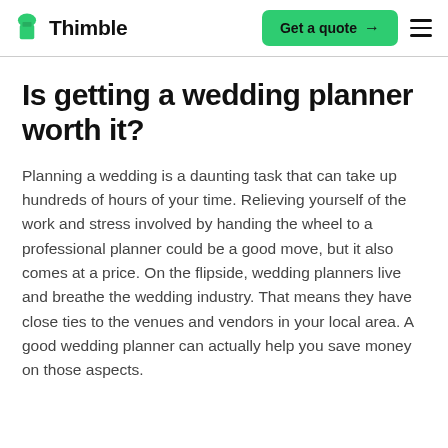Thimble | Get a quote
Is getting a wedding planner worth it?
Planning a wedding is a daunting task that can take up hundreds of hours of your time. Relieving yourself of the work and stress involved by handing the wheel to a professional planner could be a good move, but it also comes at a price. On the flipside, wedding planners live and breathe the wedding industry. That means they have close ties to the venues and vendors in your local area. A good wedding planner can actually help you save money on those aspects.